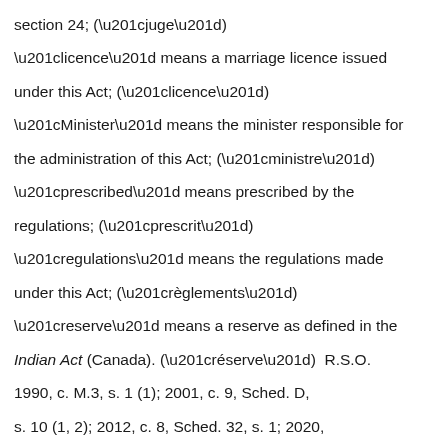section 24; (“juge”)
“licence” means a marriage licence issued under this Act; (“licence”)
“Minister” means the minister responsible for the administration of this Act; (“ministre”)
“prescribed” means prescribed by the regulations; (“prescrit”)
“regulations” means the regulations made under this Act; (“règlements”)
“reserve” means a reserve as defined in the Indian Act (Canada). (“réserve”)  R.S.O. 1990, c. M.3, s. 1 (1); 2001, c. 9, Sched. D, s. 10 (1, 2); 2012, c. 8, Sched. 32, s. 1; 2020, c. 11, Sched. 17, s. 1.